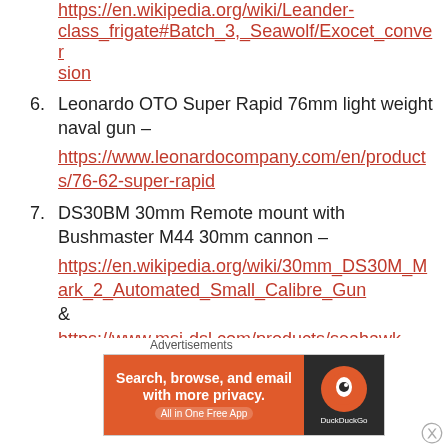https://en.wikipedia.org/wiki/Leander-class_frigate#Batch_3,_Seawolf/Exocet_conversion
6. Leonardo OTO Super Rapid 76mm light weight naval gun – https://www.leonardocompany.com/en/products/76-62-super-rapid
7. DS30BM 30mm Remote mount with Bushmaster M44 30mm cannon – https://en.wikipedia.org/wiki/30mm_DS30M_Mark_2_Automated_Small_Calibre_Gun& https://www.msi-dsl.com/products/seahawk-ds-remote/
Advertisements
[Figure (other): DuckDuckGo advertisement banner: Search, browse, and email with more privacy. All in One Free App. DuckDuckGo logo on dark right panel.]